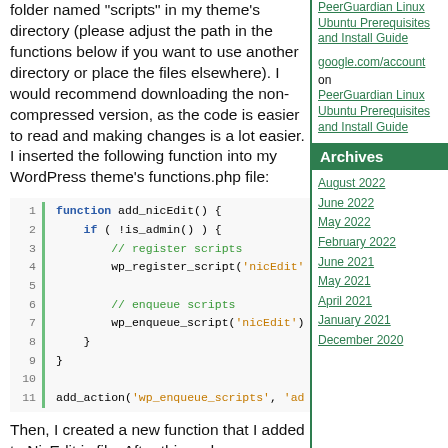folder named "scripts" in my theme's directory (please adjust the path in the functions below if you want to use another directory or place the files elsewhere).  I would recommend downloading the non-compressed version, as the code is easier to read and making changes is a lot easier.  I inserted the following function into my WordPress theme's functions.php file:
[Figure (screenshot): Code block showing PHP function add_nicEdit() with line numbers 1-11, including if(!is_admin()) check, wp_register_script and wp_enqueue_script calls, and add_action call]
Then, I created a new function that I added to NicEdit.js file.  After this code:
PeerGuardian Linux Ubuntu Prerequisites and Install Guide
google.com/account on PeerGuardian Linux Ubuntu Prerequisites and Install Guide
Archives
August 2022
June 2022
May 2022
February 2022
June 2021
May 2021
April 2021
January 2021
December 2020